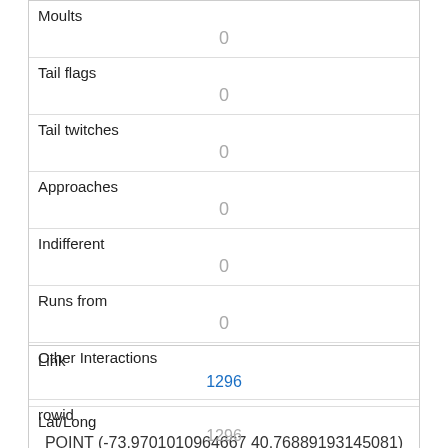| Moults | 0 |
| Tail flags | 0 |
| Tail twitches | 0 |
| Approaches | 0 |
| Indifferent | 0 |
| Runs from | 0 |
| Other Interactions |  |
| Lat/Long | POINT (-73.9701010964667 40.76889193145081) |
| Link | 1296 |
| rowid | 1296 |